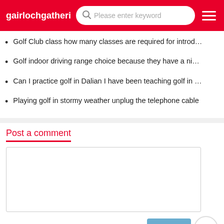gairlochgatherin...  [search bar: Please enter keyword]  [hamburger menu]
Golf Club class how many classes are required for introd...
Golf indoor driving range choice because they have a ni...
Can I practice golf in Dalian I have been teaching golf in ...
Playing golf in stormy weather unplug the telephone cable
Post a comment
Comment List